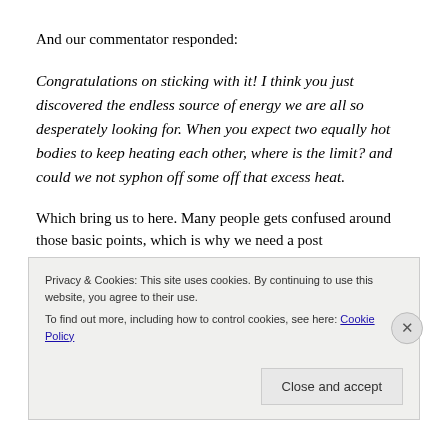And our commentator responded:
Congratulations on sticking with it! I think you just discovered the endless source of energy we are all so desperately looking for. When you expect two equally hot bodies to keep heating each other, where is the limit? and could we not syphon off some off that excess heat.
Which bring us to here. Many people gets confused around those basic points, which is why we need a post
Privacy & Cookies: This site uses cookies. By continuing to use this website, you agree to their use.
To find out more, including how to control cookies, see here: Cookie Policy